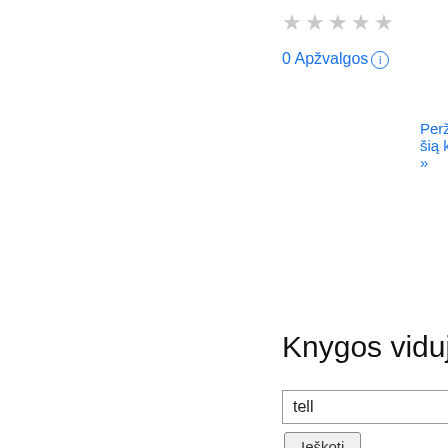[Figure (other): Star rating display showing 5 empty/grey stars]
0 Apžvalgos ℹ
Perži šią kr »
Knygos viduje
tell
Ieškoti
27 psl.
There were lots had been in the army himself , but on the other of ' em did go though , I tell you ; old Joe in the side- a ... There ain't but a few of cut across his face ; was telling of a charge in us left ; but when you want